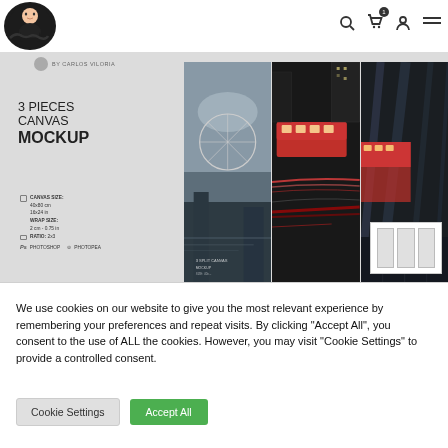[Figure (screenshot): Website header with logo avatar, search icon, cart icon with badge '1', user icon, and hamburger menu]
[Figure (screenshot): 3 Pieces Canvas Mockup product page screenshot showing canvas art mockup with London cityscape photos and specs: Canvas Size 40x60cm / 16x24in, Wrap Size 2cm - 0.75in, Ratio 2:3, Photoshop and Photopea compatible]
We use cookies on our website to give you the most relevant experience by remembering your preferences and repeat visits. By clicking "Accept All", you consent to the use of ALL the cookies. However, you may visit "Cookie Settings" to provide a controlled consent.
Cookie Settings | Accept All